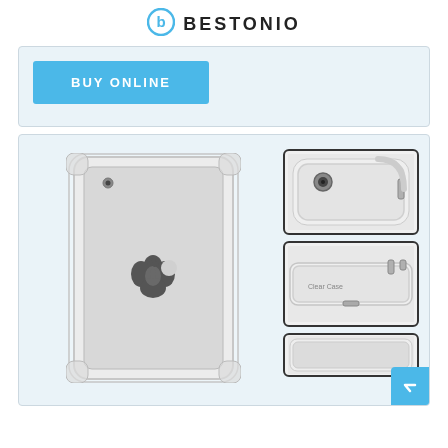BESTONIO
[Figure (screenshot): Blue BUY ONLINE button on a light blue/gray card background]
[Figure (photo): iPad with clear transparent case shown from the back, with Apple logo visible. Side panels show close-up detail images of the case corners and edges.]